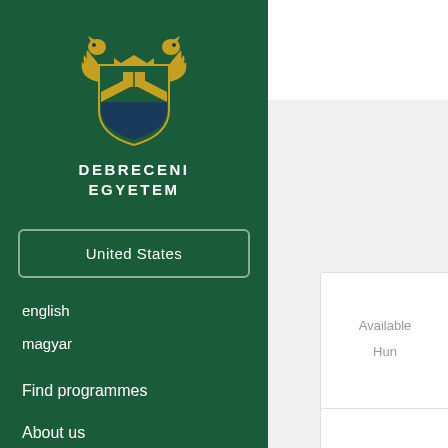[Figure (logo): Debreceni Egyetem university crest/coat of arms with golden eagle and shield]
DEBRECENI
EGYETEM
United States
english
magyar
Find programmes
About us
Become an applicant
Available
Hun